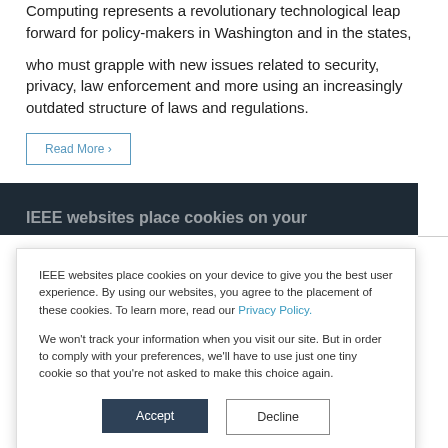Computing represents a revolutionary technological leap forward for policy-makers in Washington and in the states, who must grapple with new issues related to security, privacy, law enforcement and more using an increasingly outdated structure of laws and regulations.
Read More ›
IEEE websites place cookies on your device to give you the best user experience. By using our websites, you agree to the placement of these cookies. To learn more, read our Privacy Policy.
We won't track your information when you visit our site. But in order to comply with your preferences, we'll have to use just one tiny cookie so that you're not asked to make this choice again.
Accept
Decline